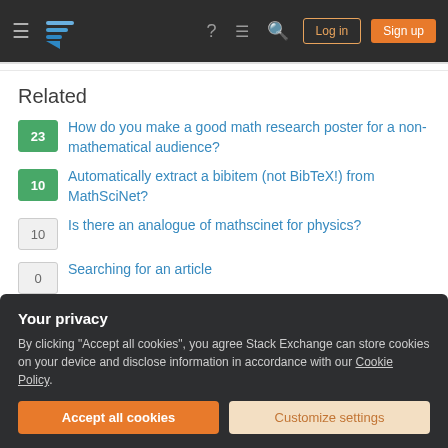Stack Exchange navigation bar with logo, help, chat, search, Log in, Sign up buttons
Related
23 - How do you make a good math research poster for a non-mathematical audience?
10 - Automatically extract a bibitem (not BibTeX!) from MathSciNet?
10 - Is there an analogue of mathscinet for physics?
0 - Searching for an article
87 - Time-saving (technology) tricks for writing papers
Your privacy
By clicking "Accept all cookies", you agree Stack Exchange can store cookies on your device and disclose information in accordance with our Cookie Policy.
Accept all cookies | Customize settings